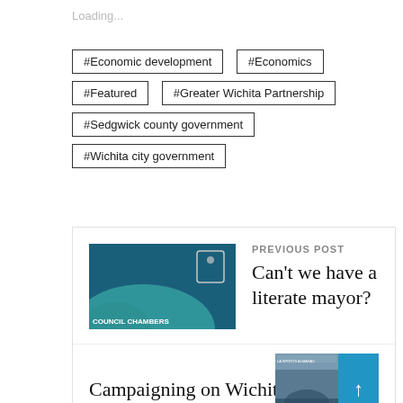Loading...
#Economic development
#Economics
#Featured
#Greater Wichita Partnership
#Sedgwick county government
#Wichita city government
PREVIOUS POST
Can't we have a literate mayor?
NEXT POST
Campaigning on Wichita as recession-proof